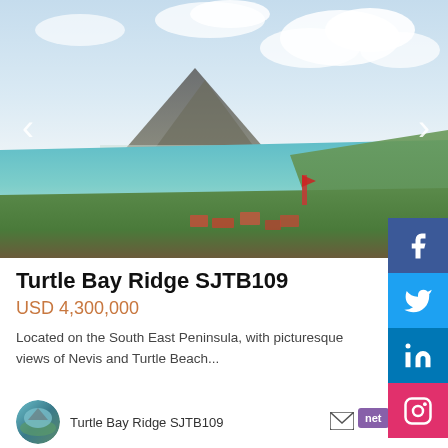[Figure (photo): Aerial view of Turtle Bay Ridge on the South East Peninsula of St Kitts, showing turquoise waters, a curved beach, green headland, volcanic mountain in background (Nevis), white clouds, and red-roofed buildings in the foreground vegetation.]
Turtle Bay Ridge SJTB109
USD 4,300,000
Located on the South East Peninsula, with picturesque views of Nevis and Turtle Beach...
Turtle Bay Ridge SJTB109